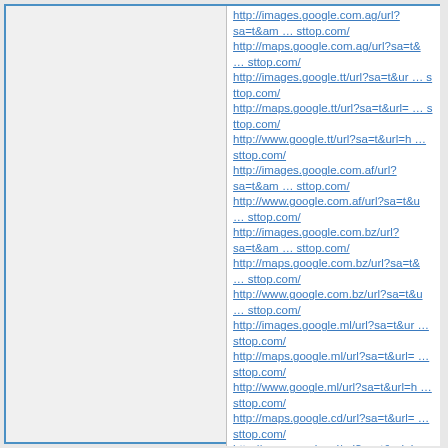http://images.google.com.ag/url?sa=t&am … sttop.com/
http://maps.google.com.ag/url?sa=t& … sttop.com/
http://images.google.tt/url?sa=t&ur … sttop.com/
http://maps.google.tt/url?sa=t&url= … sttop.com/
http://www.google.tt/url?sa=t&url=h … sttop.com/
http://images.google.com.af/url?sa=t&am … sttop.com/
http://www.google.com.af/url?sa=t&u … sttop.com/
http://images.google.com.bz/url?sa=t&am … sttop.com/
http://maps.google.com.bz/url?sa=t& … sttop.com/
http://www.google.com.bz/url?sa=t&u … sttop.com/
http://images.google.ml/url?sa=t&ur … sttop.com/
http://maps.google.ml/url?sa=t&url= … sttop.com/
http://www.google.ml/url?sa=t&url=h … sttop.com/
http://maps.google.cd/url?sa=t&url= … sttop.com/
http://www.google.cd/url?sa=t&url=h … sttop.com/